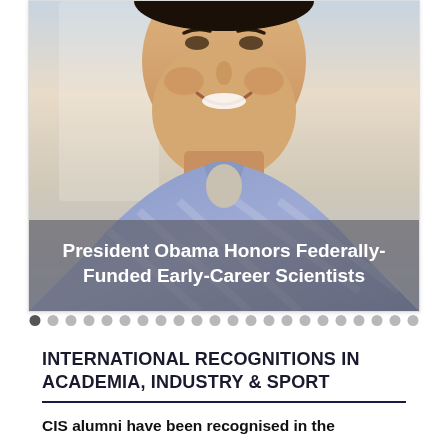[Figure (photo): Portrait photo of a smiling man in a blue plaid shirt with text overlay reading 'President Obama Honors Federally-Funded Early-Career Scientists']
President Obama Honors Federally-Funded Early-Career Scientists
INTERNATIONAL RECOGNITIONS IN ACADEMIA, INDUSTRY & SPORT
CIS alumni have been recognised in the